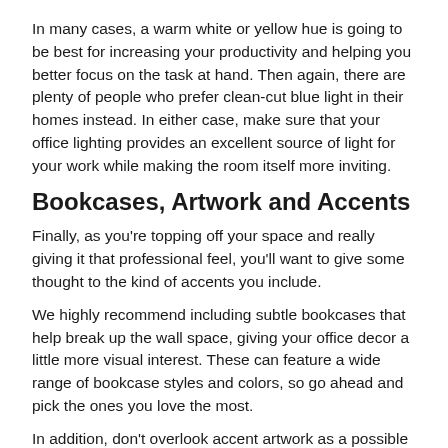In many cases, a warm white or yellow hue is going to be best for increasing your productivity and helping you better focus on the task at hand. Then again, there are plenty of people who prefer clean-cut blue light in their homes instead. In either case, make sure that your office lighting provides an excellent source of light for your work while making the room itself more inviting.
Bookcases, Artwork and Accents
Finally, as you're topping off your space and really giving it that professional feel, you'll want to give some thought to the kind of accents you include.
We highly recommend including subtle bookcases that help break up the wall space, giving your office decor a little more visual interest. These can feature a wide range of bookcase styles and colors, so go ahead and pick the ones you love the most.
In addition, don't overlook accent artwork as a possible option. The right piece could not only provide a burst of color to your study, but it might also help inspire creativity or productivity! You should give some thought to what kinds of pieces you'd like, whether it's just a high-quality print or maybe even an actual painting.